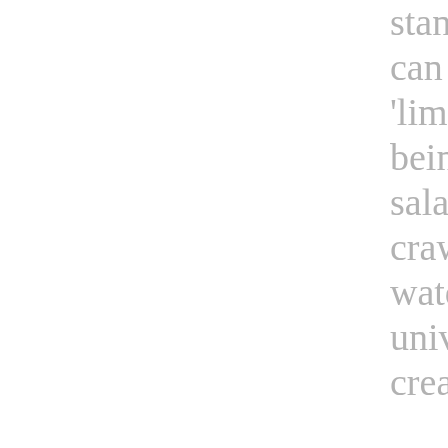stance can yo 'limited' being kr salamand crawling water) universe created? We are a spec of d universe. are unive